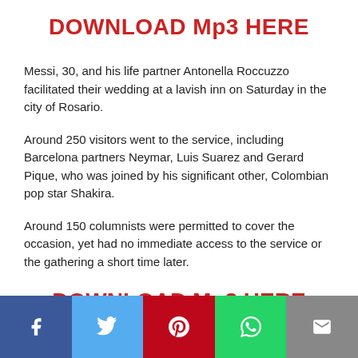DOWNLOAD Mp3 HERE
Messi, 30, and his life partner Antonella Roccuzzo facilitated their wedding at a lavish inn on Saturday in the city of Rosario.
Around 250 visitors went to the service, including Barcelona partners Neymar, Luis Suarez and Gerard Pique, who was joined by his significant other, Colombian pop star Shakira.
Around 150 columnists were permitted to cover the occasion, yet had no immediate access to the service or the gathering a short time later.
DOWNLOAD Mp3 HERE
[Figure (infographic): Social media sharing bar with icons for Facebook, Twitter, Pinterest, WhatsApp, and Email]